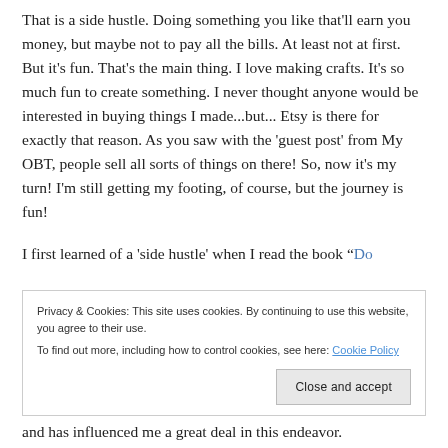That is a side hustle. Doing something you like that'll earn you money, but maybe not to pay all the bills. At least not at first. But it's fun. That's the main thing. I love making crafts. It's so much fun to create something. I never thought anyone would be interested in buying things I made...but... Etsy is there for exactly that reason. As you saw with the 'guest post' from My OBT, people sell all sorts of things on there! So, now it's my turn! I'm still getting my footing, of course, but the journey is fun!
I first learned of a 'side hustle' when I read the book “Do
Privacy & Cookies: This site uses cookies. By continuing to use this website, you agree to their use.
To find out more, including how to control cookies, see here: Cookie Policy
Close and accept
and has influenced me a great deal in this endeavor.